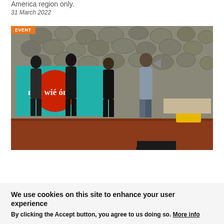America region only.
31 March 2022
[Figure (photo): Outdoor event photo showing people holding a teal banner with 'mni wiconi' text and a red circle design, with a stone wall background. A person speaks into a megaphone. An 'EVENT' badge is shown in the top-left corner.]
We use cookies on this site to enhance your user experience
By clicking the Accept button, you agree to us doing so. More info